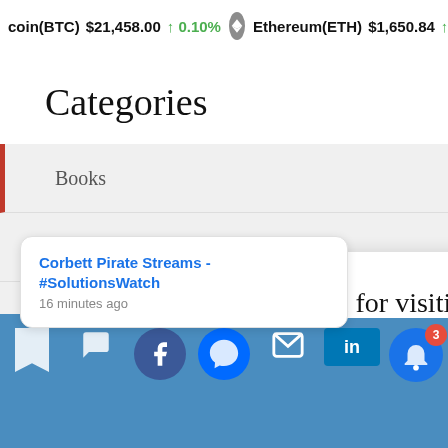coin(BTC) $21,458.00 ↑ 0.10%  Ethereum(ETH) $1,650.84 ↑ 1.4
Categories
Books
Culture
Docu[ments]
Ecolo[gy]
Thank you for visiting. You can now buy me a coffee!
Corbett Pirate Streams - #SolutionsWatch
16 minutes ago